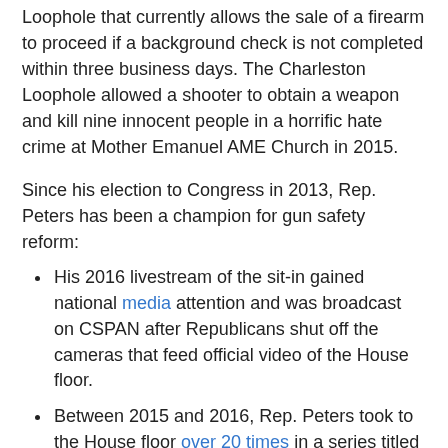Loophole that currently allows the sale of a firearm to proceed if a background check is not completed within three business days. The Charleston Loophole allowed a shooter to obtain a weapon and kill nine innocent people in a horrific hate crime at Mother Emanuel AME Church in 2015.
Since his election to Congress in 2013, Rep. Peters has been a champion for gun safety reform:
His 2016 livestream of the sit-in gained national media attention and was broadcast on CSPAN after Republicans shut off the cameras that feed official video of the House floor.
Between 2015 and 2016, Rep. Peters took to the House floor over 20 times in a series titled 'The Human Cost of Inaction' to read the names of gun violence victims and call on then-Speaker Paul Ryan to schedule a vote on background checks.